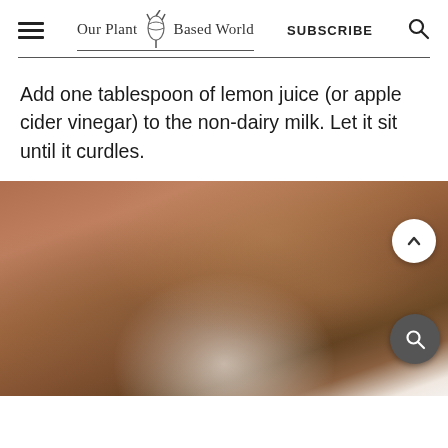Our Plant Based World | SUBSCRIBE
Add one tablespoon of lemon juice (or apple cider vinegar) to the non-dairy milk. Let it sit until it curdles.
[Figure (photo): Close-up photo of a hand/fingers on a dark background, with a lighter area at the bottom. Two floating action buttons visible: a white circle with up-chevron and a dark circle with search icon.]